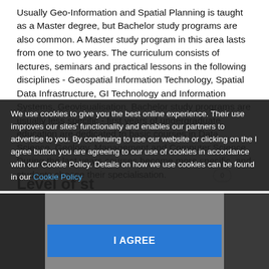Usually Geo-Information and Spatial Planning is taught as a Master degree, but Bachelor study programs are also common. A Master study program in this area lasts from one to two years. The curriculum consists of lectures, seminars and practical lessons in the following disciplines - Geospatial Information Technology, Spatial Data Infrastructure, GI Technology and Information Systems, Geovisualisation. Bachelor study programs are usually less specific - first years of undergraduate education are dedicated to basic courses in Data Science, Geology, Management and Computer Science. During the last years courses become more specific, and students choose their specialisation.
A degree (both undergraduate and graduate) can be completed with a project or research work, students work on it during all education period.
We use cookies to give you the best online experience. Their use improves our sites' functionality and enables our partners to advertise to you. By continuing to use our website or clicking on the I agree button you are agreeing to our use of cookies in accordance with our Cookie Policy. Details on how we use cookies can be found in our Cookie Policy
Level of st
[Figure (photo): Partial image strip showing dark bookshelf/library scene at the bottom of the page, partially obscured by cookie banner and agree button]